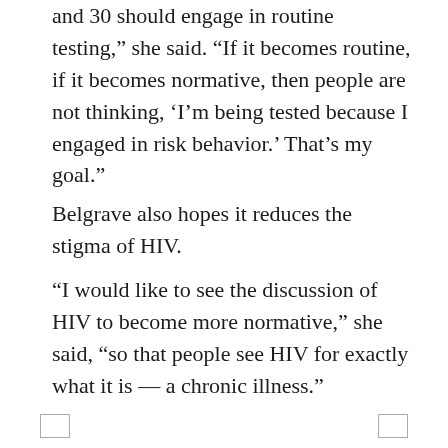and 30 should engage in routine testing,” she said. “If it becomes routine, if it becomes normative, then people are not thinking, ‘I’m being tested because I engaged in risk behavior.’ That’s my goal.”
Belgrave also hopes it reduces the stigma of HIV.
“I would like to see the discussion of HIV to become more normative,” she said, “so that people see HIV for exactly what it is — a chronic illness.”